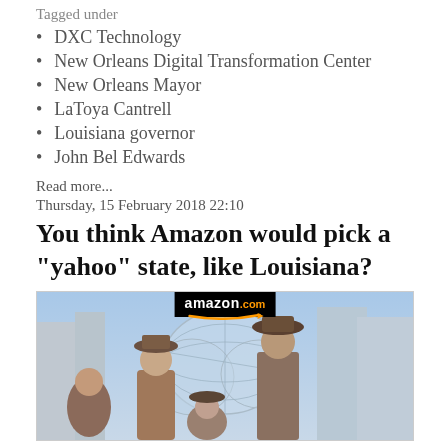Tagged under
DXC Technology
New Orleans Digital Transformation Center
New Orleans Mayor
LaToya Cantrell
Louisiana governor
John Bel Edwards
Read more...
Thursday, 15 February 2018 22:10
You think Amazon would pick a "yahoo" state, like Louisiana?
[Figure (photo): Image showing Amazon.com banner over a composite photo with people in cowboy/rustic attire in front of Amazon's Seattle spherical buildings]